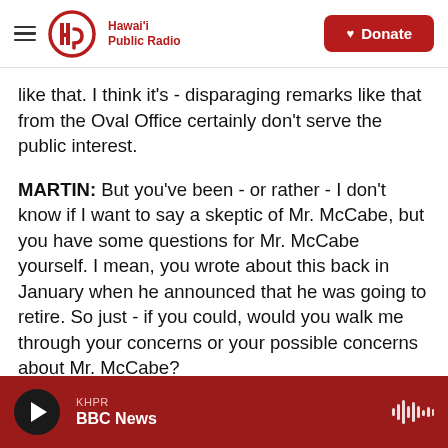Hawai'i Public Radio | Donate
like that. I think it's - disparaging remarks like that from the Oval Office certainly don't serve the public interest.
MARTIN: But you've been - or rather - I don't know if I want to say a skeptic of Mr. McCabe, but you have some questions for Mr. McCabe yourself. I mean, you wrote about this back in January when he announced that he was going to retire. So just - if you could, would you walk me through your concerns or your possible concerns about Mr. McCabe?
KHPR BBC News